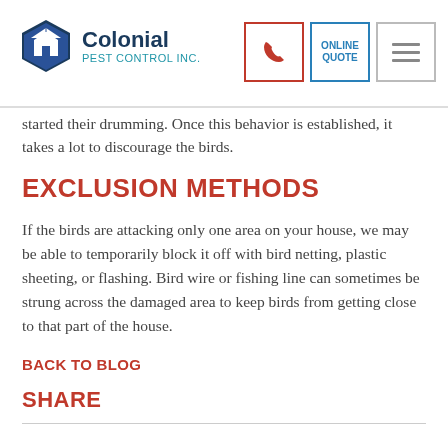Colonial Pest Control Inc. | Phone | Online Quote | Menu
started their drumming. Once this behavior is established, it takes a lot to discourage the birds.
EXCLUSION METHODS
If the birds are attacking only one area on your house, we may be able to temporarily block it off with bird netting, plastic sheeting, or flashing. Bird wire or fishing line can sometimes be strung across the damaged area to keep birds from getting close to that part of the house.
BACK TO BLOG
SHARE